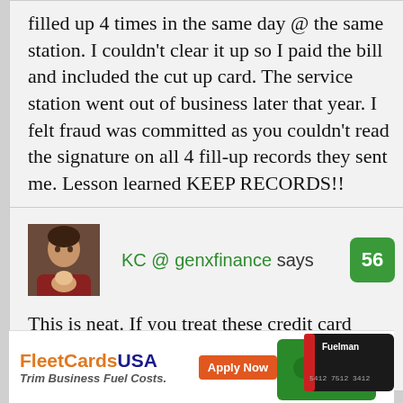filled up 4 times in the same day @ the same station. I couldn't clear it up so I paid the bill and included the cut up card. The service station went out of business later that year. I felt fraud was committed as you couldn't read the signature on all 4 fill-up records they sent me. Lesson learned KEEP RECORDS!!
[Figure (photo): Avatar photo of a person with a child]
KC @ genxfinance says
56
This is neat. If you treat these credit card companies right, they will value you as well. Will
[Figure (advertisement): FleetCardsUSA advertisement with Apply Now button and Fuelman credit card image]